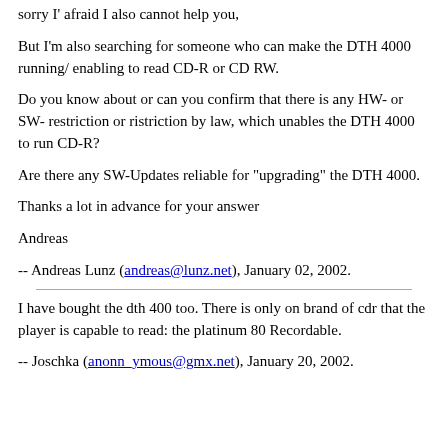sorry I' afraid I also cannot help you,
But I'm also searching for someone who can make the DTH 4000 running/ enabling to read CD-R or CD RW.
Do you know about or can you confirm that there is any HW- or SW- restriction or ristriction by law, which unables the DTH 4000 to run CD-R?
Are there any SW-Updates reliable for "upgrading" the DTH 4000.
Thanks a lot in advance for your answer
Andreas
-- Andreas Lunz (andreas@lunz.net), January 02, 2002.
I have bought the dth 400 too. There is only on brand of cdr that the player is capable to read: the platinum 80 Recordable.
-- Joschka (anonn_ymous@gmx.net), January 20, 2002.